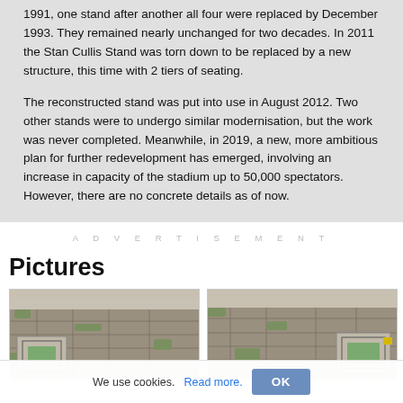1991, one stand after another all four were replaced by December 1993. They remained nearly unchanged for two decades. In 2011 the Stan Cullis Stand was torn down to be replaced by a new structure, this time with 2 tiers of seating.

The reconstructed stand was put into use in August 2012. Two other stands were to undergo similar modernisation, but the work was never completed. Meanwhile, in 2019, a new, more ambitious plan for further redevelopment has emerged, involving an increase in capacity of the stadium up to 50,000 spectators. However, there are no concrete details as of now.
ADVERTISEMENT
Pictures
[Figure (photo): Aerial photo of a stadium and surrounding urban area, trees visible]
[Figure (photo): Aerial photo of a stadium and surrounding urban area, stadium closer to right side]
We use cookies. Read more. OK